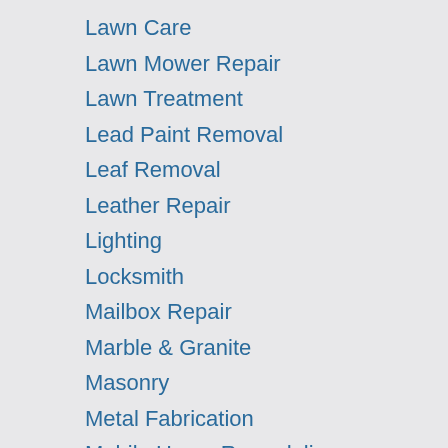Lawn Care
Lawn Mower Repair
Lawn Treatment
Lead Paint Removal
Leaf Removal
Leather Repair
Lighting
Locksmith
Mailbox Repair
Marble & Granite
Masonry
Metal Fabrication
Mobile Home Remodeling
Mold Removal
Movers